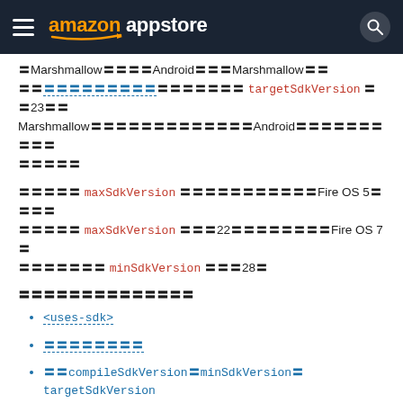Amazon Appstore header with hamburger menu, logo, and search icon
〓Marshmallow〓〓〓〓Android〓〓〓Marshmallow〓〓〓〓〓〓〓〓〓〓〓〓〓〓〓〓〓〓 targetSdkVersion 〓〓23〓〓Marshmallow〓〓〓〓〓〓〓〓〓〓〓〓〓Android〓〓〓〓〓〓〓〓〓〓〓〓〓
〓〓〓〓〓 maxSdkVersion 〓〓〓〓〓〓〓〓〓〓〓Fire OS 5〓〓〓〓〓〓〓〓 maxSdkVersion 〓〓〓22〓〓〓〓〓〓〓〓〓Fire OS 7〓〓〓〓〓〓〓〓〓 minSdkVersion 〓〓〓28〓
〓〓〓〓〓〓〓〓〓〓〓〓〓〓
<uses-sdk>
〓〓〓〓〓〓〓〓
〓〓compileSdkVersion〓minSdkVersion〓targetSdkVersion